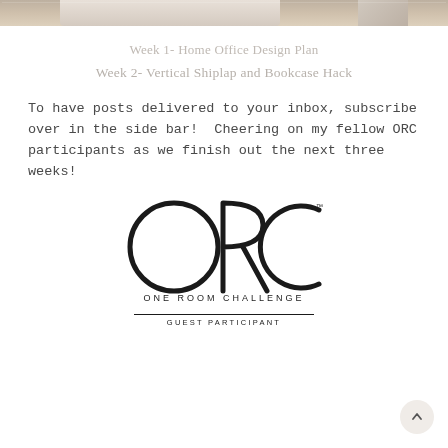[Figure (photo): Partial photo of a home office or room interior visible at the top of the page]
Week 1- Home Office Design Plan
Week 2- Vertical Shiplap and Bookcase Hack
To have posts delivered to your inbox, subscribe over in the side bar!  Cheering on my fellow ORC participants as we finish out the next three weeks!
[Figure (logo): ORC One Room Challenge Guest Participant logo — large circular ORC lettermark above the text ONE ROOM CHALLENGE with a horizontal rule and GUEST PARTICIPANT below]